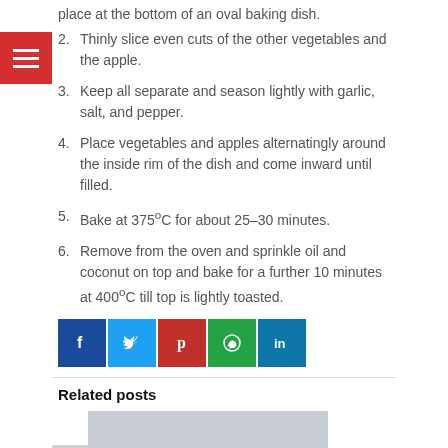place at the bottom of an oval baking dish.
2. Thinly slice even cuts of the other vegetables and the apple.
3. Keep all separate and season lightly with garlic, salt, and pepper.
4. Place vegetables and apples alternatingly around the inside rim of the dish and come inward until filled.
5. Bake at 375°C for about 25–30 minutes.
6. Remove from the oven and sprinkle oil and coconut on top and bake for a further 10 minutes at 400°C till top is lightly toasted.
[Figure (other): Social sharing icons row: Facebook, Twitter, Pinterest, WhatsApp, LinkedIn]
Related posts
[Figure (photo): Placeholder image for a related post, dated August 26, 2022]